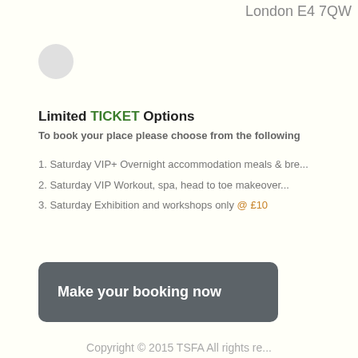London E4 7QW
[Figure (illustration): Small circular icon/logo]
Limited TICKET Options
To book your place please choose from the following
1. Saturday VIP+ Overnight accommodation meals & bre...
2. Saturday VIP Workout, spa, head to toe makeover...
3. Saturday Exhibition and workshops only @ £10
Make your booking now
Copyright © 2015 TSFA All rights re...
RmY012, Newham College of Further Education | Startford Campus | ... 4HT